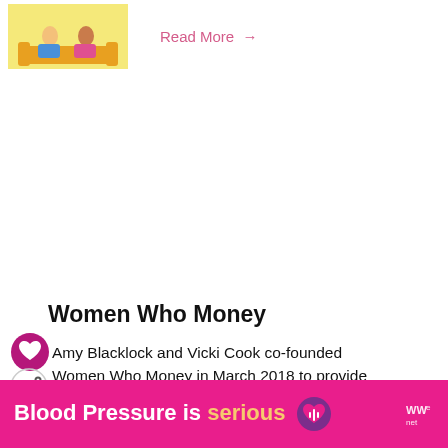[Figure (illustration): Small thumbnail illustration of people sitting on a yellow couch]
Read More →
Women Who Money
Amy Blacklock and Vicki Cook co-founded Women Who Money in March 2018 to provide helpful information on personal finance, career,
[Figure (infographic): Ad banner: Blood Pressure is serious with a heart icon and WW logo]